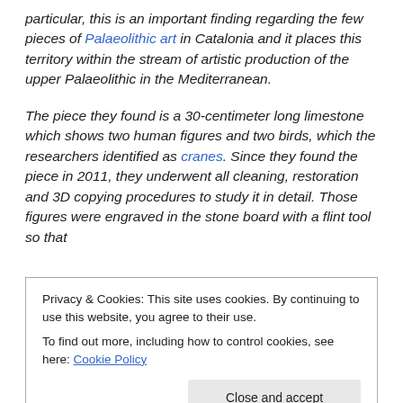particular, this is an important finding regarding the few pieces of Palaeolithic art in Catalonia and it places this territory within the stream of artistic production of the upper Palaeolithic in the Mediterranean.
The piece they found is a 30-centimeter long limestone which shows two human figures and two birds, which the researchers identified as cranes. Since they found the piece in 2011, they underwent all cleaning, restoration and 3D copying procedures to study it in detail. Those figures were engraved in the stone board with a flint tool so that
Privacy & Cookies: This site uses cookies. By continuing to use this website, you agree to their use. To find out more, including how to control cookies, see here: Cookie Policy
unique, since it combines an image of hunting and a